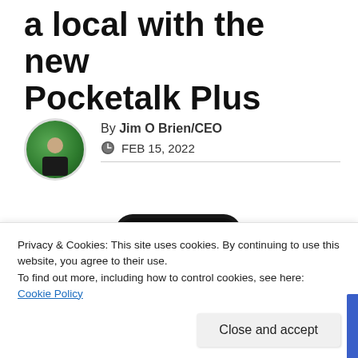a local with the new Pocketalk Plus
By Jim O Brien/CEO
FEB 15, 2022
[Figure (photo): Pocketalk Plus device showing English(US) language selection screen]
Privacy & Cookies: This site uses cookies. By continuing to use this website, you agree to their use.
To find out more, including how to control cookies, see here: Cookie Policy
Close and accept